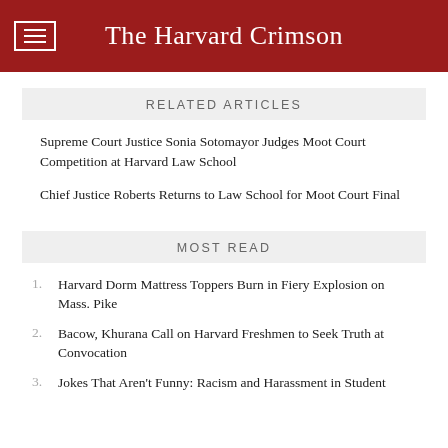The Harvard Crimson
RELATED ARTICLES
Supreme Court Justice Sonia Sotomayor Judges Moot Court Competition at Harvard Law School
Chief Justice Roberts Returns to Law School for Moot Court Final
MOST READ
1. Harvard Dorm Mattress Toppers Burn in Fiery Explosion on Mass. Pike
2. Bacow, Khurana Call on Harvard Freshmen to Seek Truth at Convocation
3. Jokes That Aren't Funny: Racism and Harassment in Student